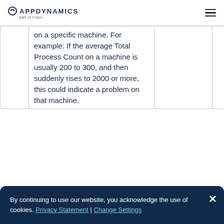APPDYNAMICS part of Cisco
|  | on a specific machine. For example: If the average Total Process Count on a machine is usually 200 to 300, and then suddenly rises to 2000 or more, this could indicate a problem on that machine. |  |  |
By continuing to use our website, you acknowledge the use of cookies. Privacy Statement | Change Settings